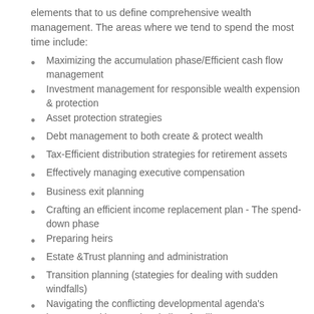elements that to us define comprehensive wealth management. The areas where we tend to spend the most time include:
Maximizing the accumulation phase/Efficient cash flow management
Investment management for responsible wealth expension & protection
Asset protection strategies
Debt management to both create & protect wealth
Tax-Efficient distribution strategies for retirement assets
Effectively managing executive compensation
Business exit planning
Crafting an efficient income replacement plan - The spend-down phase
Preparing heirs
Estate &Trust planning and administration
Transition planning (stategies for dealing with sudden windfalls)
Navigating the conflicting developmental agenda's between multigenerational client families